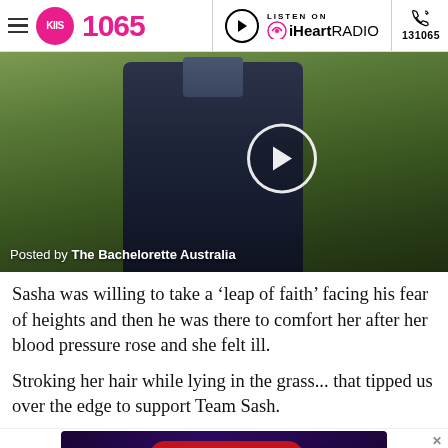KIIS 1065 | LISTEN ON iHeartRADIO | 131065
[Figure (photo): Man in dark jacket standing outdoors on green grass background, with a video play button overlay. Caption: Posted by The Bachelorette Australia]
Posted by The Bachelorette Australia
Sasha was willing to take a ‘leap of faith’ facing his fear of heights and then he was there to comfort her after her blood pressure rose and she felt ill.
Stroking her hair while lying in the grass... that tipped us over the edge to support Team Sash.
[Figure (other): Advertisement banner with purple/dark background, diamond and club card suit icons, and a red pill-shaped button reading ENTER NOW]